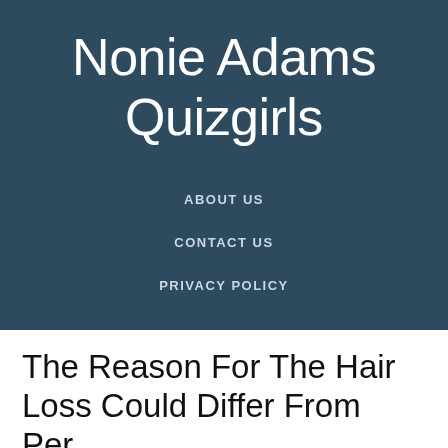Nonie Adams Quizgirls
ABOUT US
CONTACT US
PRIVACY POLICY
The Reason For The Hair Loss Could Differ From Person To Person